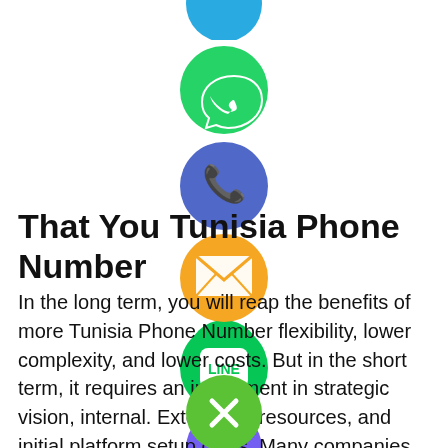[Figure (illustration): Vertical stack of social media / messaging app icons centered on the right half of the page: partial blue circle (top, cut off), WhatsApp green circle with phone handset, blue phone circle, orange email/envelope circle, LINE green circle, Viber purple circle, green circle with X (close button)]
That You Tunisia Phone Number
In the long term, you will reap the benefits of more Tunisia Phone Number flexibility, lower complexity, and lower costs. But in the short term, it requires an investment in strategic vision, internal. External IT resources, and initial platform setup costs. Many companies will therefore have to undergo a digital transformation and slowly grow towards composable commerce. By leveraging Tunisia Phone Number's full capabilities of the cloud, you are assure of